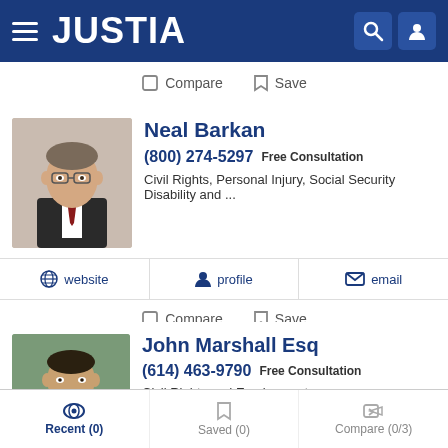JUSTIA
Compare  Save
Neal Barkan
(800) 274-5297 Free Consultation
Civil Rights, Personal Injury, Social Security Disability and ...
website  profile  email
Compare  Save
John Marshall Esq
(614) 463-9790 Free Consultation
Civil Rights and Employment
website  profile  email
Recent (0)  Saved (0)  Compare (0/3)